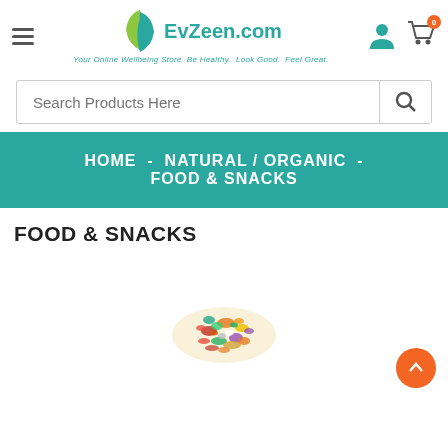[Figure (logo): EvZeen.com logo with green and teal leaf icon, tagline: Your Online Wellbeing Store Be Healthy. Look Good. Feel Great.]
Search Products Here
HOME  -  NATURAL / ORGANIC  -  FOOD & SNACKS
FOOD & SNACKS
[Figure (photo): Pile of mixed dried fruit and nut trail mix snack]